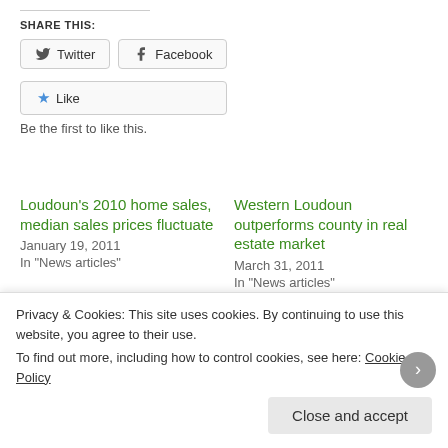SHARE THIS:
Twitter  Facebook
Like
Be the first to like this.
Loudoun's 2010 home sales, median sales prices fluctuate
January 19, 2011
In "News articles"
Western Loudoun outperforms county in real estate market
March 31, 2011
In "News articles"
Home prices on the rise in
Privacy & Cookies: This site uses cookies. By continuing to use this website, you agree to their use.
To find out more, including how to control cookies, see here: Cookie Policy
Close and accept